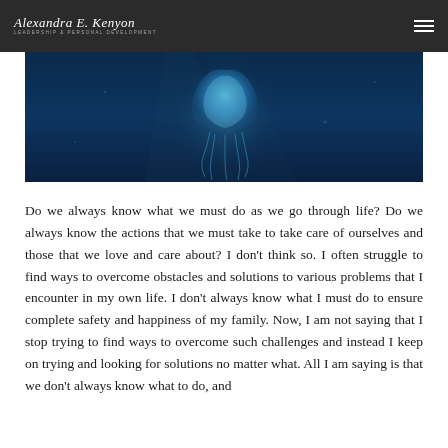Alexandra E. Kenyon — Leadership & Personal Development
[Figure (photo): Underwater photograph of a jellyfish or similar translucent blue marine creature against a deep dark blue ocean background.]
Do we always know what we must do as we go through life? Do we always know the actions that we must take to take care of ourselves and those that we love and care about? I don't think so. I often struggle to find ways to overcome obstacles and solutions to various problems that I encounter in my own life. I don't always know what I must do to ensure complete safety and happiness of my family. Now, I am not saying that I stop trying to find ways to overcome such challenges and instead I keep on trying and looking for solutions no matter what. All I am saying is that we don't always know what to do, and